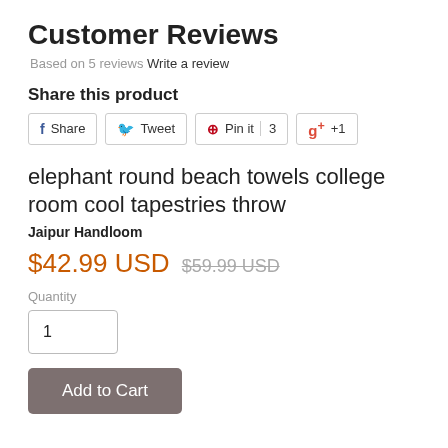Customer Reviews
Based on 5 reviews Write a review
Share this product
[Figure (other): Social sharing buttons: Facebook Share, Twitter Tweet, Pinterest Pin it (count: 3), Google+ +1]
elephant round beach towels college room cool tapestries throw
Jaipur Handloom
$42.99 USD  $59.99 USD
Quantity
1
Add to Cart